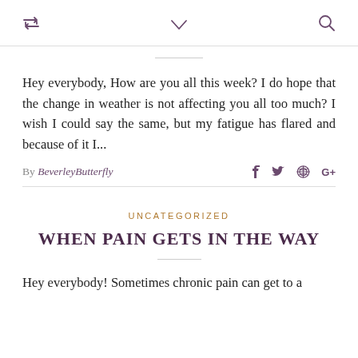↺ ∨ 🔍
Hey everybody, How are you all this week? I do hope that the change in weather is not affecting you all too much? I wish I could say the same, but my fatigue has flared and because of it I...
By BeverleyButterfly
UNCATEGORIZED
WHEN PAIN GETS IN THE WAY
Hey everybody! Sometimes chronic pain can get to a